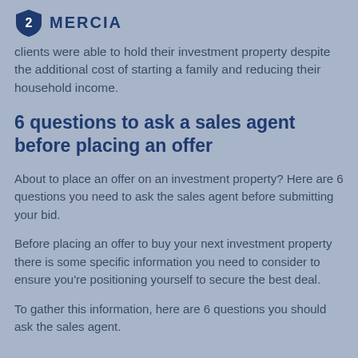MERCIA
clients were able to hold their investment property despite the additional cost of starting a family and reducing their household income.
6 questions to ask a sales agent before placing an offer
About to place an offer on an investment property? Here are 6 questions you need to ask the sales agent before submitting your bid.
Before placing an offer to buy your next investment property there is some specific information you need to consider to ensure you're positioning yourself to secure the best deal.
To gather this information, here are 6 questions you should ask the sales agent.